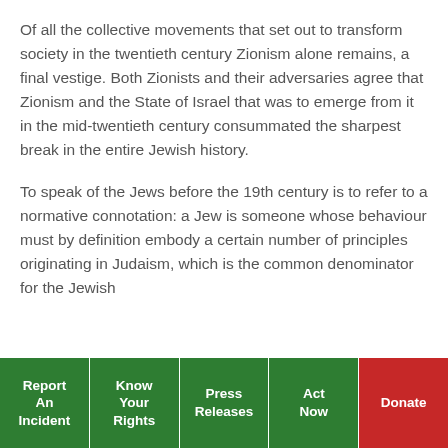Of all the collective movements that set out to transform society in the twentieth century Zionism alone remains, a final vestige. Both Zionists and their adversaries agree that Zionism and the State of Israel that was to emerge from it in the mid-twentieth century consummated the sharpest break in the entire Jewish history.
To speak of the Jews before the 19th century is to refer to a normative connotation: a Jew is someone whose behaviour must by definition embody a certain number of principles originating in Judaism, which is the common denominator for the Jewish
Report An Incident | Know Your Rights | Press Releases | Act Now | Donate